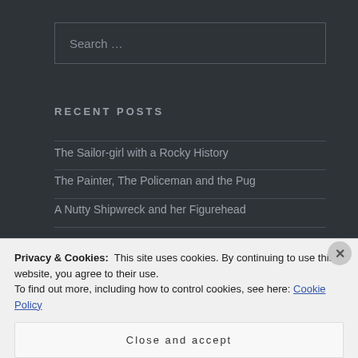Search …
RECENT POSTS
The Sailor-girl with a Rocky History
The Painter, The Policeman and the Pug
A Nutty Shipwreck and her Figurehead
Privacy & Cookies: This site uses cookies. By continuing to use this website, you agree to their use. To find out more, including how to control cookies, see here: Cookie Policy
Close and accept